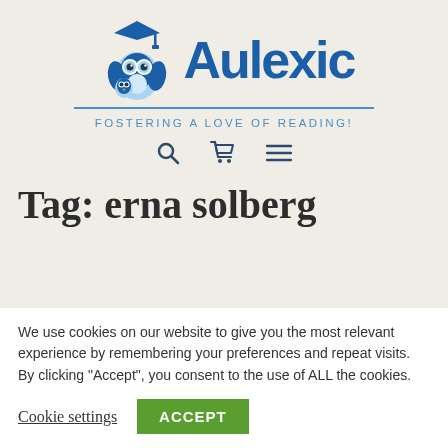[Figure (logo): Aulexic logo with owl mascot wearing graduation cap and tagline 'FOSTERING A LOVE OF READING!']
search, cart, and menu navigation icons
Tag: erna solberg
We use cookies on our website to give you the most relevant experience by remembering your preferences and repeat visits. By clicking "Accept", you consent to the use of ALL the cookies.
Cookie settings  ACCEPT